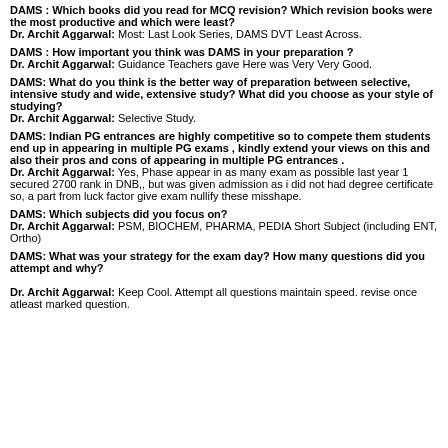DAMS : Which books did you read for MCQ revision? Which revision books were the most productive and which were least?
Dr. Archit Aggarwal: Most: Last Look Series, DAMS DVT Least Across.
DAMS : How important you think was DAMS in your preparation ?
Dr. Archit Aggarwal: Guidance Teachers gave Here was Very Very Good.
DAMS: What do you think is the better way of preparation between selective, intensive study and wide, extensive study? What did you choose as your style of studying?
Dr. Archit Aggarwal: Selective Study.
DAMS: Indian PG entrances are highly competitive so to compete them students end up in appearing in multiple PG exams , kindly extend your views on this and also their pros and cons of appearing in multiple PG entrances .
Dr. Archit Aggarwal: Yes, Phase appear in as many exam as possible last year 1 secured 2700 rank in DNB,, but was given admission as i did not had degree certificate so, a part from luck factor give exam nullify these misshape.
DAMS: Which subjects did you focus on?
Dr. Archit Aggarwal: PSM, BIOCHEM, PHARMA, PEDIA Short Subject (including ENT, Ortho)
DAMS: What was your strategy for the exam day? How many questions did you attempt and why?
Dr. Archit Aggarwal: Keep Cool. Attempt all questions maintain speed. revise once atleast marked question.